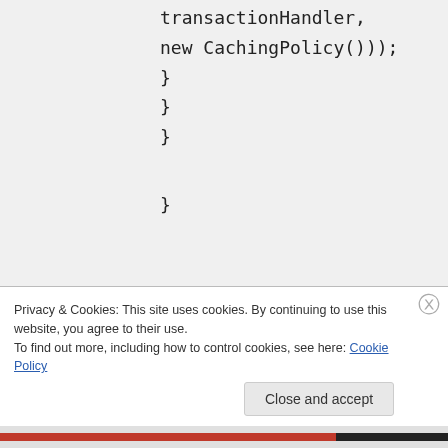transactionHandler,
    new CachingPolicy()));
    }
    }
    }

    }
my question is how can I get my memory provider object that is on fly to call InvalidateSets manually ? or how can I checking transaction
Privacy & Cookies: This site uses cookies. By continuing to use this website, you agree to their use.
To find out more, including how to control cookies, see here: Cookie Policy